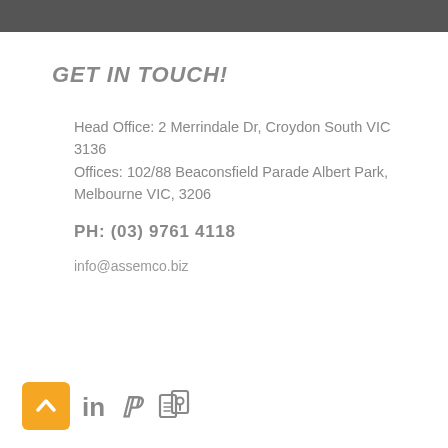GET IN TOUCH!
Head Office: 2 Merrindale Dr, Croydon South VIC 3136
Offices: 102/88 Beaconsfield Parade Albert Park, Melbourne VIC, 3206
PH: (03) 9761 4118
info@assemco.biz
[Figure (illustration): Row of social/contact icons: orange square with up-arrow (back-to-top), LinkedIn 'in' icon, Pinterest 'P' icon, map/location icon]